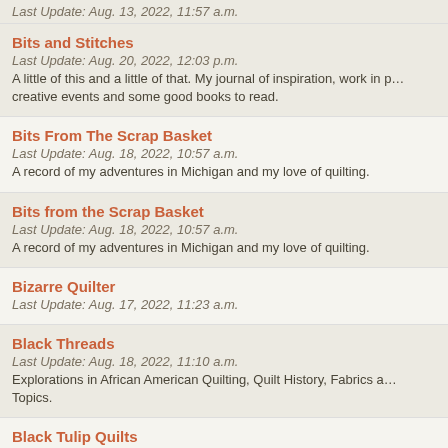Last Update: Aug. 13, 2022, 11:57 a.m.
Bits and Stitches
Last Update: Aug. 20, 2022, 12:03 p.m.
A little of this and a little of that. My journal of inspiration, work in progress, creative events and some good books to read.
Bits From The Scrap Basket
Last Update: Aug. 18, 2022, 10:57 a.m.
A record of my adventures in Michigan and my love of quilting.
Bits from the Scrap Basket
Last Update: Aug. 18, 2022, 10:57 a.m.
A record of my adventures in Michigan and my love of quilting.
Bizarre Quilter
Last Update: Aug. 17, 2022, 11:23 a.m.
Black Threads
Last Update: Aug. 18, 2022, 11:10 a.m.
Explorations in African American Quilting, Quilt History, Fabrics and Related Topics.
Black Tulip Quilts
Last Update: Aug. 20, 2022, 8:04 p.m.
Blackberry Creek Home Arts
Last Update: May 4, 2018, 4:06 a.m.